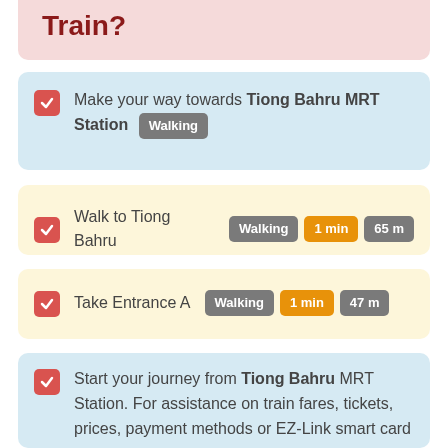Train?
Make your way towards Tiong Bahru MRT Station Walking
Walk to Tiong Bahru Walking 1 min 65 m
Take Entrance A Walking 1 min 47 m
Start your journey from Tiong Bahru MRT Station. For assistance on train fares, tickets, prices, payment methods or EZ-Link smart card